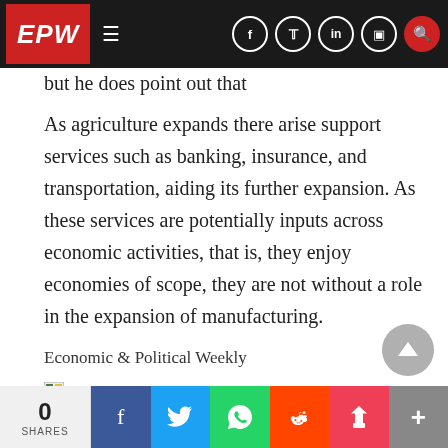EPW
but he does point out that
As agriculture expands there arise support services such as banking, insurance, and transportation, aiding its further expansion. As these services are potentially inputs across economic activities, that is, they enjoy economies of scope, they are not without a role in the expansion of manufacturing.
Economic & Political Weekly
EPW
0 SHARES